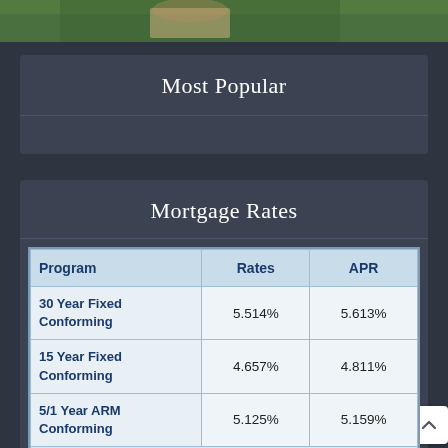[Figure (photo): Partial photo strip at top of page, showing greenery/outdoors scene]
Most Popular
Mortgage Rates
| Program | Rates | APR |
| --- | --- | --- |
| 30 Year Fixed Conforming | 5.514% | 5.613% |
| 15 Year Fixed Conforming | 4.657% | 4.811% |
| 5/1 Year ARM Conforming | 5.125% | 5.159% |
Last Updated: 8/31/2022